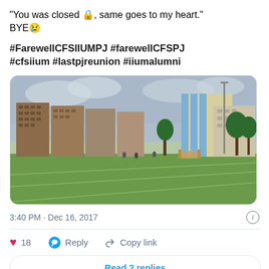"You was closed 🔒, same goes to my heart." BYE😢
#FarewellCFSIIUMPJ #farewellCFSPJ #cfsiium #lastpjreunion #iiumalumni
[Figure (photo): Outdoor campus photo showing multi-storey university buildings (IIUM Petaling Jaya campus) with a green football field in the foreground, trees, and a cloudy sky.]
3:40 PM · Dec 16, 2017
❤ 18   Reply   Copy link
Read 2 replies